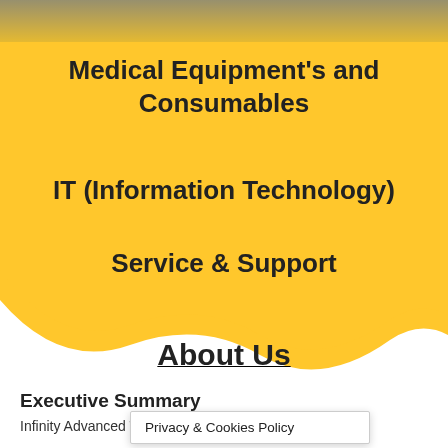[Figure (photo): Cropped photo strip showing people at the top of the page against a yellow background]
Medical Equipment's and Consumables
IT (Information Technology)
Service & Support
About Us
Executive Summary
Infinity Advanced Te... was
Privacy & Cookies Policy